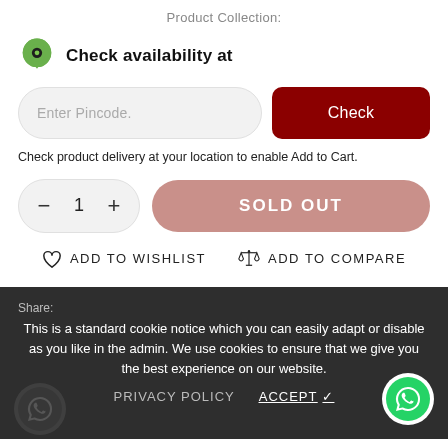Product Collection:
Check availability at
Enter Pincode.
Check
Check product delivery at your location to enable Add to Cart.
− 1 + SOLD OUT
ADD TO WISHLIST  ADD TO COMPARE
Share:
This is a standard cookie notice which you can easily adapt or disable as you like in the admin. We use cookies to ensure that we give you the best experience on our website.
PRIVACY POLICY  ACCEPT ✓